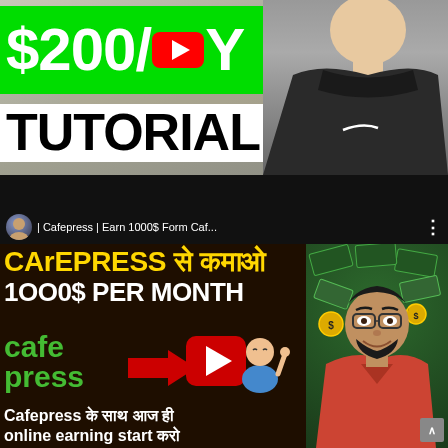[Figure (screenshot): YouTube thumbnail showing '$200/DAY TUTORIAL' text in large white/green font with a YouTube logo icon replacing 'D', with a person in a black hoodie on the right side against a blurred background.]
[Figure (screenshot): YouTube video card for 'Cafepress | Earn 1000$ Form Caf...' showing thumbnail with text 'CArEPRESS से कमाओ 1000$ PER MONTH', cafepress green logo, YouTube play button with red arrow, animated character, bottom text 'Cafepress के साथ आज ही online earning start करो', and a smiling man on the right with glasses in a red shirt against a money-themed background.]